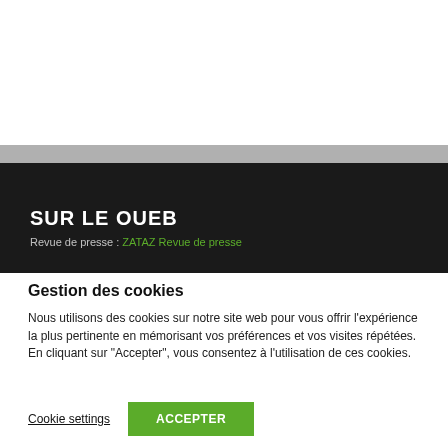[Figure (screenshot): White top area of a webpage screenshot]
SUR LE OUEB
Revue de presse : ZATAZ Revue de presse
Gestion des cookies
Nous utilisons des cookies sur notre site web pour vous offrir l'expérience la plus pertinente en mémorisant vos préférences et vos visites répétées. En cliquant sur "Accepter", vous consentez à l'utilisation de ces cookies.
Cookie settings
ACCEPTER